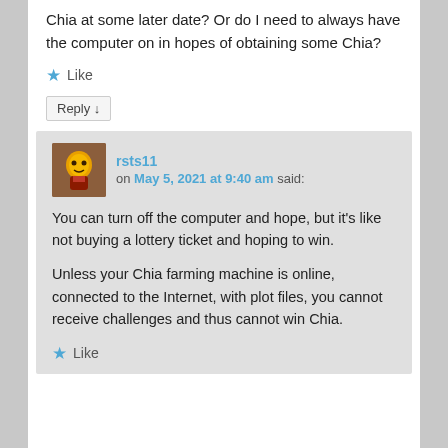Chia at some later date? Or do I need to always have the computer on in hopes of obtaining some Chia?
★ Like
Reply ↓
rsts11
on May 5, 2021 at 9:40 am said:
You can turn off the computer and hope, but it's like not buying a lottery ticket and hoping to win.
Unless your Chia farming machine is online, connected to the Internet, with plot files, you cannot receive challenges and thus cannot win Chia.
★ Like